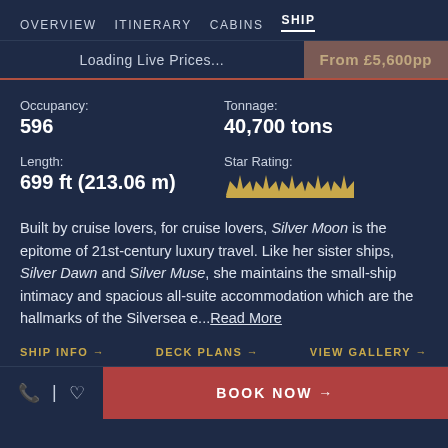OVERVIEW  ITINERARY  CABINS  SHIP
Loading Live Prices...
From £5,600pp
Occupancy:
596
Tonnage:
40,700 tons
Length:
699 ft (213.06 m)
Star Rating: (5 crowns)
Built by cruise lovers, for cruise lovers, Silver Moon is the epitome of 21st-century luxury travel. Like her sister ships, Silver Dawn and Silver Muse, she maintains the small-ship intimacy and spacious all-suite accommodation which are the hallmarks of the Silversea e...Read More
SHIP INFO →  DECK PLANS →  VIEW GALLERY →
BOOK NOW →